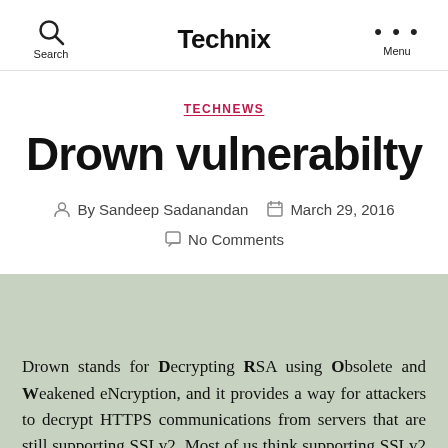Search  Technix  Menu
TECHNEWS
Drown vulnerabilty
By Sandeep Sadanandan   March 29, 2016
No Comments
Drown stands for Decrypting RSA using Obsolete and Weakened eNcryption, and it provides a way for attackers to decrypt HTTPS communications from servers that are still supporting SSLv2. Most of us think supporting SSLv2 protocol on server is not a problem